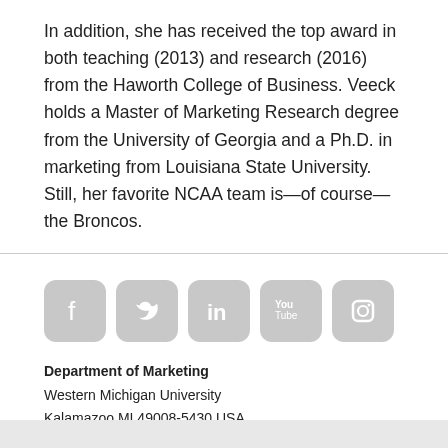In addition, she has received the top award in both teaching (2013) and research (2016) from the Haworth College of Business. Veeck holds a Master of Marketing Research degree from the University of Georgia and a Ph.D. in marketing from Louisiana State University. Still, her favorite NCAA team is—of course—the Broncos.
[Figure (infographic): Five social media icons (Facebook, Twitter, LinkedIn, YouTube, Instagram) displayed as grey rounded square buttons]
Department of Marketing
Western Michigan University
Kalamazoo MI 49008-5430 USA
(269) 387-6130